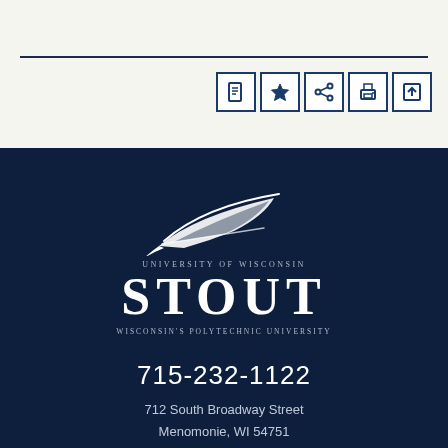[Figure (logo): University of Wisconsin-Stout logo with feather/quill graphic, text: UNIVERSITY OF WISCONSIN / STOUT / WISCONSIN'S POLYTECHNIC UNIVERSITY]
715-232-1122
712 South Broadway Street
Menomonie, WI 54751
Contact Us / Maps & Directions